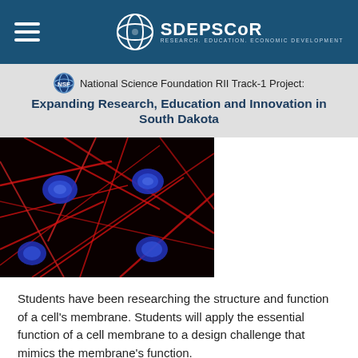SD EPSCoR — Research. Education. Economic Development.
National Science Foundation RII Track-1 Project: Expanding Research, Education and Innovation in South Dakota
[Figure (photo): Fluorescence microscopy image of cells with red actin filaments and blue nuclei on a dark background.]
Students have been researching the structure and function of a cell's membrane. Students will apply the essential function of a cell membrane to a design challenge that mimics the membrane's function.